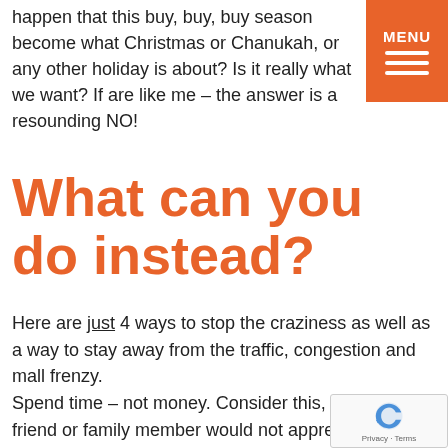happen that this buy, buy, buy season become what Christmas or Chanukah, or any other holiday is about? Is it really what we want? If are like me – the answer is a resounding NO!
What can you do instead?
Here are just 4 ways to stop the craziness as well as a way to stay away from the traffic, congestion and mall frenzy. Spend time – not money. Consider this, what child or friend or family member would not appreciate the gift of TIME? Time to sit, talk, focus, do something fun. That's it – you are starting to think about it. As a coach I love the